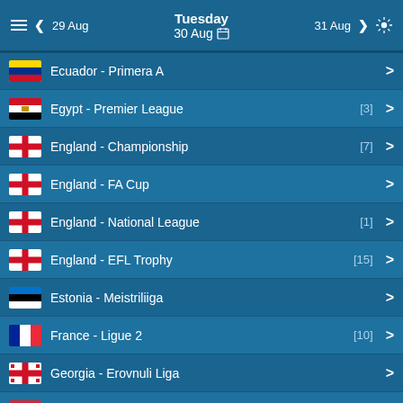Tuesday 30 Aug | 29 Aug | 31 Aug
Ecuador - Primera A
Egypt - Premier League [3]
England - Championship [7]
England - FA Cup
England - National League [1]
England - EFL Trophy [15]
Estonia - Meistriliiga
France - Ligue 2 [10]
Georgia - Erovnuli Liga
Hungary - NB1